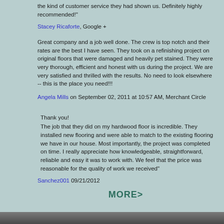the kind of customer service they had shown us. Definitely highly recommended!"
Stacey Ricaforte, Google +
Great company and a job well done. The crew is top notch and their rates are the best I have seen. They took on a refinishing project on original floors that were damaged and heavily pet stained. They were very thorough, efficient and honest with us during the project. We are very satisfied and thrilled with the results. No need to look elsewhere -- this is the place you need!!!
Angela Mills on September 02, 2011 at 10:57 AM, Merchant Circle
Thank you!
The job that they did on my hardwood floor is incredible. They installed new flooring and were able to match to the existing flooring we have in our house. Most importantly, the project was completed on time. I really appreciate how knowledgeable, straightforward, reliable and easy it was to work with. We feel that the price was reasonable for the quality of work we received"
Sanchez001 09/21/2012
MORE>